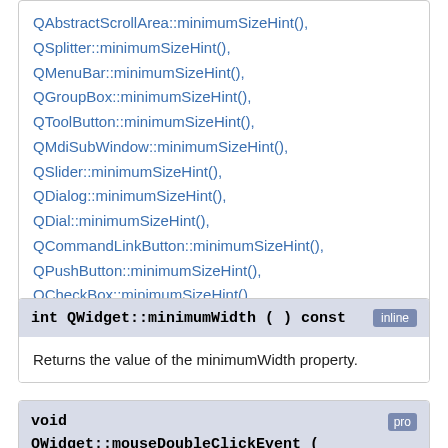QAbstractScrollArea::minimumSizeHint(), QSplitter::minimumSizeHint(), QMenuBar::minimumSizeHint(), QGroupBox::minimumSizeHint(), QToolButton::minimumSizeHint(), QMdiSubWindow::minimumSizeHint(), QSlider::minimumSizeHint(), QDialog::minimumSizeHint(), QDial::minimumSizeHint(), QCommandLinkButton::minimumSizeHint(), QPushButton::minimumSizeHint(), QCheckBox::minimumSizeHint(), QRadioButton::minimumSizeHint()
int QWidget::minimumWidth ( ) const [inline]
Returns the value of the minimumWidth property.
void QWidget::mouseDoubleClickEvent ( QMouseEvent * event ) [protected]